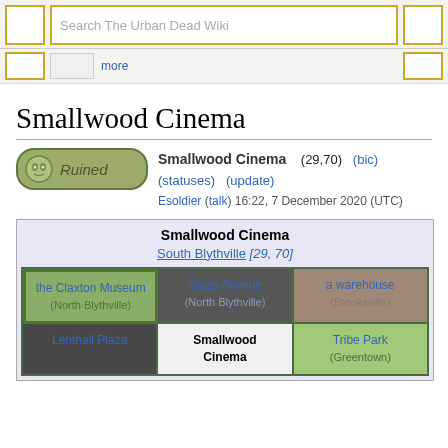Search The Urban Dead Wiki
Smallwood Cinema
Smallwood Cinema (29,70) (bic) (statuses) (update) Esoldier (talk) 16:22, 7 December 2020 (UTC)
|  |  |  |
| --- | --- | --- |
| the Claxton Museum (North Blythville) | Glass Avenue (North Blythville) | a warehouse (Brooksville) |
| Lenthall Plaza | Smallwood Cinema | Tribe Park (Greentown) |